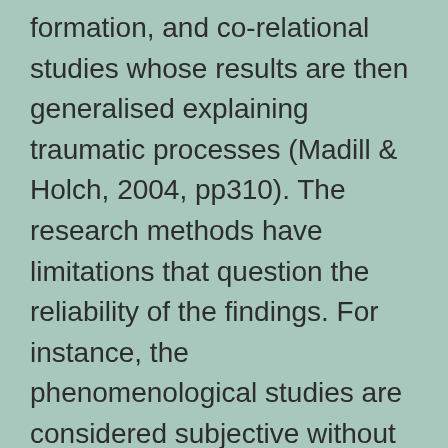formation, and co-relational studies whose results are then generalised explaining traumatic processes (Madill & Holch, 2004, pp310). The research methods have limitations that question the reliability of the findings. For instance, the phenomenological studies are considered subjective without scientific objectivity. The correlational studies are unable to establish a causal relationship between variables under investigation. Similarly, the laboratory studies are limited in terms of ecological validity because they are unable to control the conditions that emulate CSA protracted trauma experimentally and also the